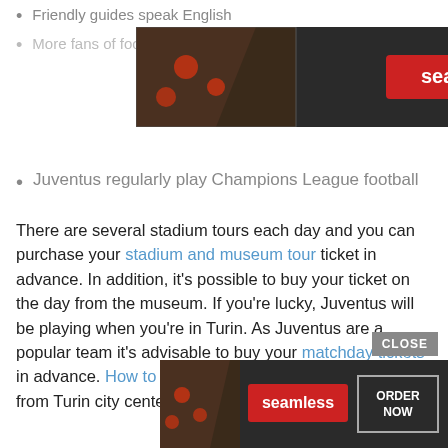Friendly guides speak English
[Figure (screenshot): Seamless food delivery advertisement banner with pizza image, seamless logo in red, and ORDER NOW button]
More fans of football and have
Juventus regularly play Champions League football
There are several stadium tours each day and you can purchase your stadium and museum tour ticket in advance.  In addition, it's possible to buy your ticket on the day from the museum.  If you're lucky, Juventus will be playing when you're in Turin.  As Juventus are a popular team it's advisable to buy your matchday tickets in advance.  How to get to the Juventus Allianz Stadium from Turin city center.
[Figure (screenshot): Seamless food delivery advertisement banner at bottom with pizza image, seamless logo in red, and ORDER NOW button. Includes CLOSE button.]